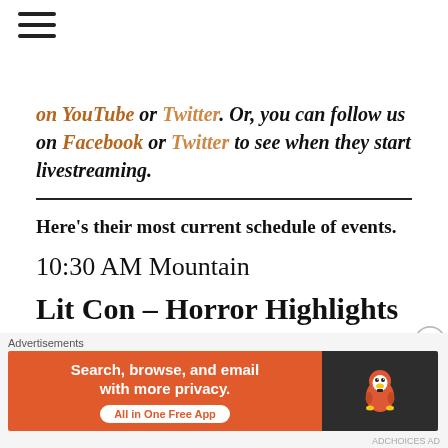on YouTube or Twitter. Or, you can follow us on Facebook or Twitter to see when they start livestreaming.
Here's their most current schedule of events.
10:30 AM Mountain
Lit Con – Horror Highlights
Horror meets education in this scary-smart session to kick off PopSCREAM. Featuring
Advertisements
[Figure (other): DuckDuckGo advertisement banner: 'Search, browse, and email with more privacy. All in One Free App' with DuckDuckGo duck logo on dark background]